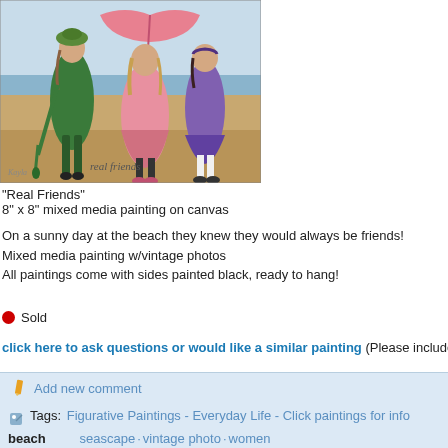[Figure (illustration): Painting titled 'Real Friends' showing three women in vintage attire standing on a beach. One woman in green holds a closed umbrella, center woman in pink holds an open pink umbrella, third woman in purple stands to the right. Sandy beach and ocean in background. Text 'real friends' appears in script at bottom of painting.]
"Real Friends"
8" x 8" mixed media painting on canvas
On a sunny day at the beach they knew they would always be friends!
Mixed media painting w/vintage photos
All paintings come with sides painted black, ready to hang!
● Sold
click here to ask questions or would like a similar painting (Please include
Add new comment
Tags: Figurative Paintings - Everyday Life - Click paintings for info  beach  seascape  vintage photo  women